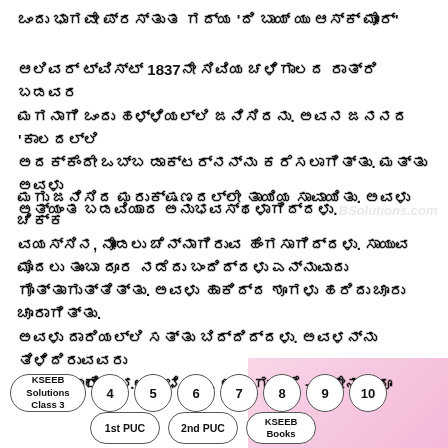ಒಂದು ಭಾಗವೇ ಪ್ರಸ್ತುತ ಗದ್ಯ 'ದಿ ಬಾಯ್ ಯು ಆಸ್ಕ್ ಮೋರ್'
ಆಲಿವರ್ ಟ್ವಿಸ್ಟ್ 1837ನೇ ಸಿವಿಯ ಚಳಿಗಾಲದ ರಾತ್ರಿ ಬಡವರ ಮಗನಾಗಿ ಒಂದು ಹಳ್ಳಿಯಲ್ಲಿ ಜನಿಸಿದನು. ಅವನ ಜನನದ 'ಕಾಲದಲ್ಲಿ ಅದಕ್ಕೆಂದೇ ಒಬ್ಬ ಡಾಕ್ಟರ್‌ನನ್ನು ಕರೆಸಲಾಗಿತ್ತು. ಮತ್ತು ಅವಳು ಅತ್ಯಂತ ಬಡವಿಯಾದ ಅನುಭವಸ್ಥಳಾಗಿದ್ದಳು.
ಮಗು ಜನಿಸಿದ ಮರುಕ್ಷಣದಲ್ಲೇ ತಾಯಿಯ ಸಾವಾಯಿತು. ಅವಳು ಚಿಕ್ಕ ವಯಸ್ಸಿನ, ನೋಡಲು ಚೆನ್ನಾಗಿರುವ ಹೆಂಗಸಾಗಿದ್ದಳು. ಸಾಯುವ ಮೊದಲು ತುಂಬಾ ದೂರ ನಡೆದು ಬಂದಿದ್ದಳು ಎನ್ನುವುದು ಗೊತ್ತಾಗುತ್ತಿತ್ತು. ಅವಳು ಹಾಕಿದ್ದ ಶೂಗಳು ಹರಿದು ಚೂರು ಚೂರಾಗಿತ್ತು. ಅವಳು ದಾರಿಯಲ್ಲಿ ಸತ್ತು ಬಿದ್ದಿದ್ದಳು. ಅವಳನ್ನು ತಿಳಿದಿರುವವರು ಯಾರೂ ಇರಲಿಲ್ಲ.
ಮಗು ಜೋರಾಗಿ ಅಳಲಾರಂಭಿಸಿತು. ಆ ಮಗುವಿಗೆ - ತಾನೇನಾದರೂ
[Figure (other): Navigation bar with KSEEB Solutions Class 3 oval and numbered circles 4-10, plus 1st PUC, 2nd PUC, KSEEB Books ovals at bottom]